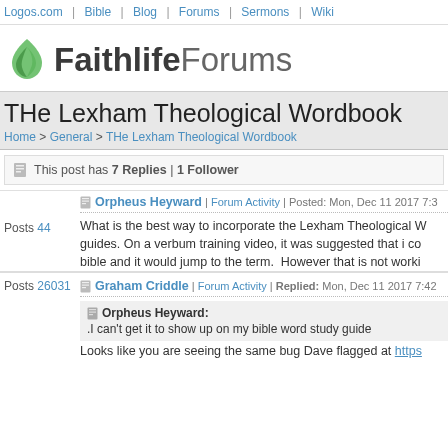Logos.com | Bible | Blog | Forums | Sermons | Wiki
[Figure (logo): Faithlife Forums logo with green leaf icon]
THe Lexham Theological Wordbook
Home > General > THe Lexham Theological Wordbook
This post has 7 Replies | 1 Follower
Orpheus Heyward | Forum Activity | Posted: Mon, Dec 11 2017 7:3...
What is the best way to incorporate the Lexham Theological W... guides. On a verbum training video, it was suggested that i co... bible and it would jump to the term.  However that is not worki...
Posts 44
Graham Criddle | Forum Activity | Replied: Mon, Dec 11 2017 7:42 ...
Orpheus Heyward: .I can't get it to show up on my bible word study guide...
Posts 26031
Looks like you are seeing the same bug Dave flagged at https...